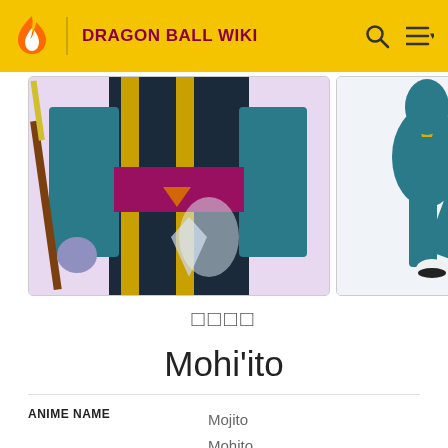DRAGON BALL WIKI
[Figure (illustration): Left image: Dragon Ball anime character (Mohi'ito) from the torso down, wearing a dark outfit with gold stripes and magenta sash, holding a staff. Right image: Another view of a Dragon Ball anime character in a teal outfit, mid-jump.]
□□□□
Mohi'ito
| ANIME NAME |  |
| --- | --- |
|  | Mojito |
|  | Mohito |
MORE ∨